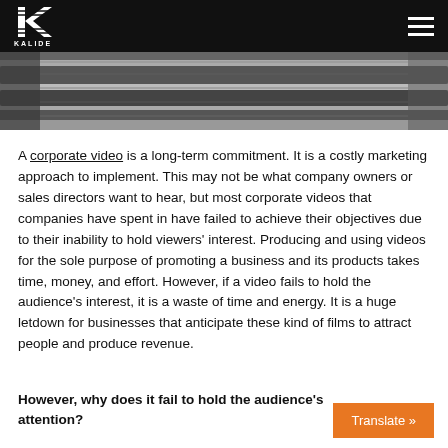KALIDE
[Figure (photo): Grayscale hero image showing what appears to be folded fabric or rolled material with striped texture]
A corporate video is a long-term commitment. It is a costly marketing approach to implement. This may not be what company owners or sales directors want to hear, but most corporate videos that companies have spent in have failed to achieve their objectives due to their inability to hold viewers' interest. Producing and using videos for the sole purpose of promoting a business and its products takes time, money, and effort. However, if a video fails to hold the audience's interest, it is a waste of time and energy. It is a huge letdown for businesses that anticipate these kind of films to attract people and produce revenue.
However, why does it fail to hold the audience's attention?